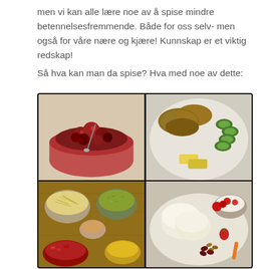men vi kan alle lære noe av å spise mindre betennelsesfremmende. Både for oss selv- men også for våre nære og kjære! Kunnskap er et viktig redskap!
Så hva kan man da spise? Hva med noe av dette:
[Figure (photo): 2x2 grid of food photos: top-left shows a bowl of mixed berries/fruit compote with a dark red color; top-right shows a plate with fried/baked patties, sliced cucumber, and yellow cheese/pineapple slices; bottom-left shows small bowls of ingredients including shredded cheese, chopped green herbs, sauce, and chopped red/yellow peppers; bottom-right shows a plate with white buns/flatbreads, cherry tomatoes, strawberries, nuts, carrots, and a small bowl of yogurt with fruit.]